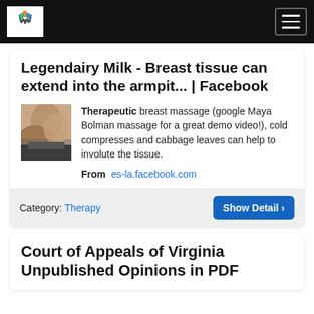Navigation bar with logo and menu button
Legendairy Milk - Breast tissue can extend into the armpit... | Facebook
[Figure (photo): Thumbnail image showing a close-up of a body/shoulder area]
Therapeutic breast massage (google Maya Bolman massage for a great demo video!), cold compresses and cabbage leaves can help to involute the tissue.
From  es-la.facebook.com
Category: Therapy
Court of Appeals of Virginia Unpublished Opinions in PDF